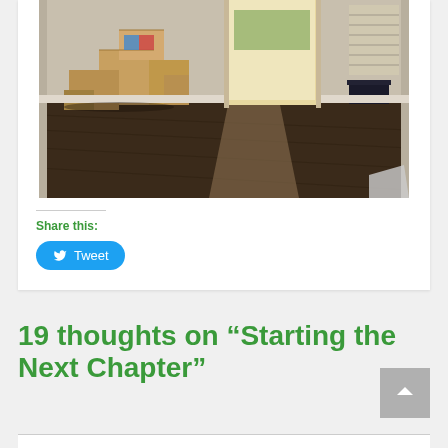[Figure (photo): Indoor room photo showing moving boxes stacked in the corner, dark hardwood floors, and an open glass sliding door leading to a bright outdoor patio area. There is also a dark object on the right side against the wall.]
Share this:
Tweet
19 thoughts on “Starting the Next Chapter”